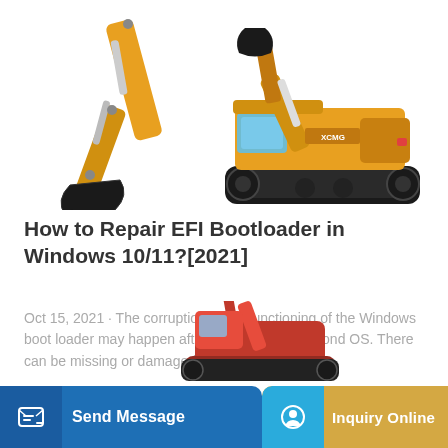[Figure (photo): Two excavators: left shows excavator arm/bucket detail, right shows full yellow excavator machine on tracks]
How to Repair EFI Bootloader in Windows 10/11?[2021]
Oct 15, 2021 · The corruption or malfunctioning of the Windows boot loader may happen after you install the second OS. There can be missing or damaged boot...
Learn More
[Figure (photo): Red mini excavator partially visible at bottom of page]
Send Message
Inquiry Online